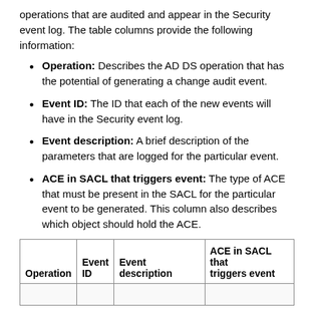operations that are audited and appear in the Security event log. The table columns provide the following information:
Operation: Describes the AD DS operation that has the potential of generating a change audit event.
Event ID: The ID that each of the new events will have in the Security event log.
Event description: A brief description of the parameters that are logged for the particular event.
ACE in SACL that triggers event: The type of ACE that must be present in the SACL for the particular event to be generated. This column also describes which object should hold the ACE.
| Operation | Event
ID | Event description | ACE in SACL that
triggers event |
| --- | --- | --- | --- |